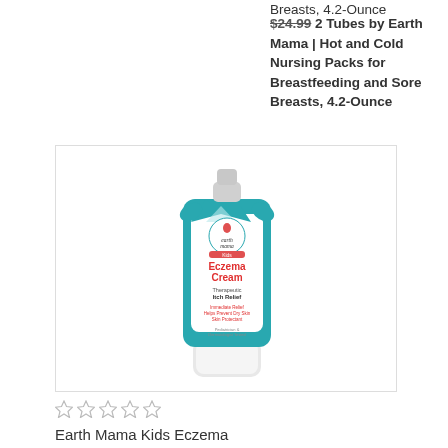Breasts, 4.2-Ounce
$24.99 2 Tubes by Earth Mama | Hot and Cold Nursing Packs for Breastfeeding and Sore Breasts, 4.2-Ounce
[Figure (photo): Earth Mama Kids Eczema Cream tube product photo in a bordered box]
★★★★★
Earth Mama Kids Eczema